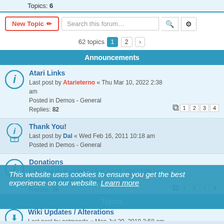Topics: 6
New Topic | Search this forum…
62 topics  1  2  >
Announcements
Atari Links - Last post by Atarieterno « Thu Mar 10, 2022 2:38 am - Posted in Demos - General - Replies: 82
Thank You! - Last post by Dal « Wed Feb 16, 2011 10:18 am - Posted in Demos - General
Donations - Last post by Rustynutt « Sat Jul 02, 2022 7:08 am - Posted in Demos - General - Replies: 96
This website uses cookies to ensure you get the best experience on our website. Learn more
Topics
Wiki Updates / Alterations - Last post by catmando « Mon Jul 29, 2019 3:58 am - Replies: 19
Game Cheats section